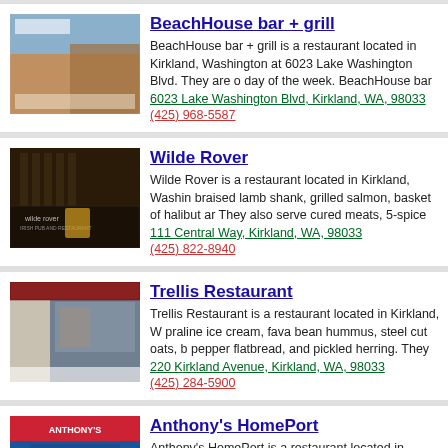[Figure (screenshot): BeachHouse bar + grill restaurant thumbnail screenshot]
BeachHouse bar + grill
BeachHouse bar + grill is a restaurant located in Kirkland, Washington at 6023 Lake Washington Blvd. They are o day of the week. BeachHouse bar + grill restaurants in K
6023 Lake Washington Blvd, Kirkland, WA, 98033
(425) 968-5587
[Figure (screenshot): Wilde Rover Irish pub and restaurant thumbnail screenshot]
Wilde Rover
Wilde Rover is a restaurant located in Kirkland, Washin braised lamb shank, grilled salmon, basket of halibut ar They also serve cured meats, 5-spice chicken, half a sa
111 Central Way, Kirkland, WA, 98033
(425) 822-8940
[Figure (screenshot): Trellis Restaurant thumbnail screenshot]
Trellis Restaurant
Trellis Restaurant is a restaurant located in Kirkland, W praline ice cream, fava bean hummus, steel cut oats, b pepper flatbread, and pickled herring. They also serve p
220 Kirkland Avenue, Kirkland, WA, 98033
(425) 284-5900
[Figure (screenshot): Anthony's HomePort restaurant thumbnail with Welcome to Anthony's text]
Anthony's HomePort
Anthony's HomePort is a restaurant located in Kirkland, the week. Anthony's Restaurants is a family of unique r owned company traces its history to 1969 when founde
135 Lake Street South, Kirkland, WA, 98033
(425) 822-0225